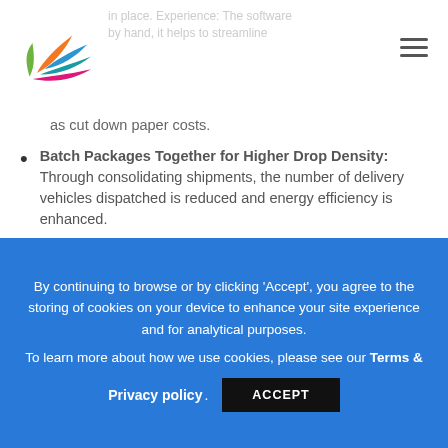as cut down paper costs.
Batch Packages Together for Higher Drop Density: Through consolidating shipments, the number of delivery vehicles dispatched is reduced and energy efficiency is enhanced.
Green Packaging: To protect the environment, many logistics companies take initiatives to move towards green packaging methods.
– Reduce: Use eco-friendly, biodegradable packaging to
By continuing to browse or by clicking 'Accept', you agree to the storing of cookies on your device to enhance your site experience and for analytical purposes. To learn more about how we use cookies, please see our Terms & Privacy policy. ACCEPT